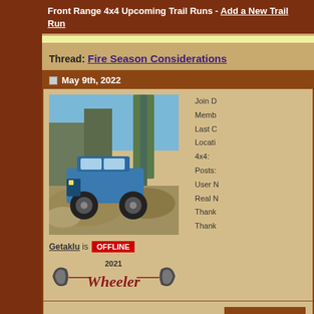Front Range 4x4 Upcoming Trail Runs - Add a New Trail Run
Thread: Fire Season Considerations
May 9th, 2022
[Figure (photo): Blue Jeep/4x4 vehicle climbing over large rocks among pine trees]
Getaklu is OFFLINE
[Figure (logo): 2021 Wheeler badge/logo]
Join D
Memb
Last C
Locati
4x4:
Posts:
User N
Real N
Thank
Thank
Fire Season Considerations
BACK TO TOP